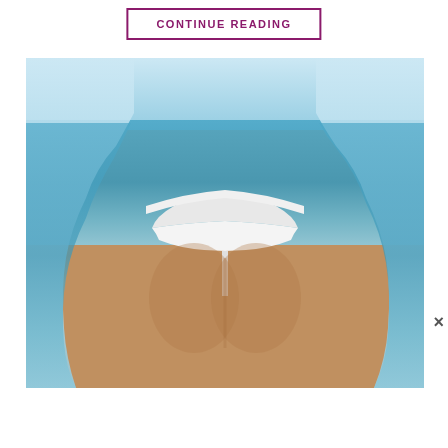CONTINUE READING
[Figure (photo): Back view of a woman in a white thong bikini standing at a beach with blue ocean and sky in background. A close button (×) appears at the bottom right corner of the image overlay.]